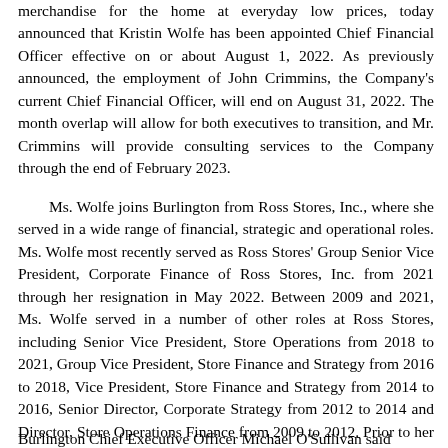merchandise for the home at everyday low prices, today announced that Kristin Wolfe has been appointed Chief Financial Officer effective on or about August 1, 2022. As previously announced, the employment of John Crimmins, the Company's current Chief Financial Officer, will end on August 31, 2022. The month overlap will allow for both executives to transition, and Mr. Crimmins will provide consulting services to the Company through the end of February 2023.
Ms. Wolfe joins Burlington from Ross Stores, Inc., where she served in a wide range of financial, strategic and operational roles. Ms. Wolfe most recently served as Ross Stores' Group Senior Vice President, Corporate Finance of Ross Stores, Inc. from 2021 through her resignation in May 2022. Between 2009 and 2021, Ms. Wolfe served in a number of other roles at Ross Stores, including Senior Vice President, Store Operations from 2018 to 2021, Group Vice President, Store Finance and Strategy from 2016 to 2018, Vice President, Store Finance and Strategy from 2014 to 2016, Senior Director, Corporate Strategy from 2012 to 2014 and Director, Store Operations Finance from 2009 to 2012. Prior to her career with Ross Stores, Ms. Wolfe held various roles over a 10-year period with Bain & Company.
Burlington Chief Executive Officer Michael O'Sullivan said